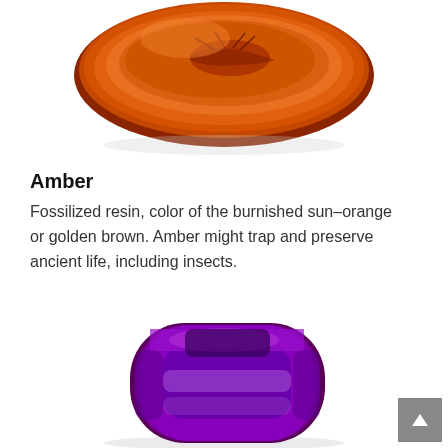[Figure (photo): Amber gemstone — polished orange-brown fossilized resin with an insect visible inside, rounded cushion shape, viewed from above against white background.]
Amber
Fossilized resin, color of the burnished sun–orange or golden brown. Amber might trap and preserve ancient life, including insects.
[Figure (photo): Amethyst gemstone — faceted cushion-cut purple gemstone with deep violet to bright purple coloring, showing facet reflections, partially cropped at bottom of page.]